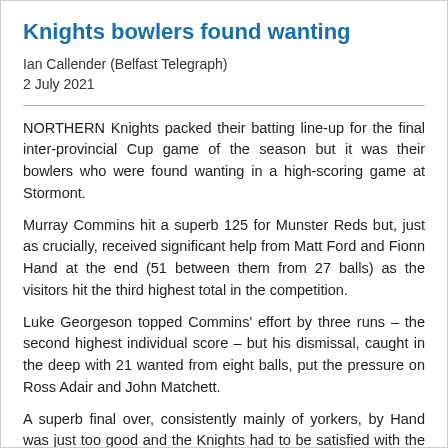Knights bowlers found wanting
Ian Callender (Belfast Telegraph)
2 July 2021
NORTHERN Knights packed their batting line-up for the final inter-provincial Cup game of the season but it was their bowlers who were found wanting in a high-scoring game at Stormont.
Murray Commins hit a superb 125 for Munster Reds but, just as crucially, received significant help from Matt Ford and Fionn Hand at the end (51 between them from 27 balls) as the visitors hit the third highest total in the competition.
Luke Georgeson topped Commins' effort by three runs – the second highest individual score – but his dismissal, caught in the deep with 21 wanted from eight balls, put the pressure on Ross Adair and John Matchett.
A superb final over, consistently mainly of yorkers, by Hand was just too good and the Knights had to be satisfied with the highest total by a side batting second and only the fifth to make 300.